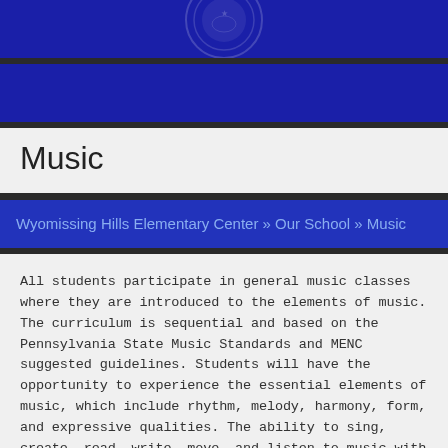[Figure (illustration): Blue banner header with school seal/crest watermark in center]
Music
Wyomissing Hills Elementary Center » Our School » Music
All students participate in general music classes where they are introduced to the elements of music. The curriculum is sequential and based on the Pennsylvania State Music Standards and MENC suggested guidelines. Students will have the opportunity to experience the essential elements of music, which include rhythm, melody, harmony, form, and expressive qualities. The ability to sing, create, read, write, move, and listen to music with understanding is the goal of the elementary student.